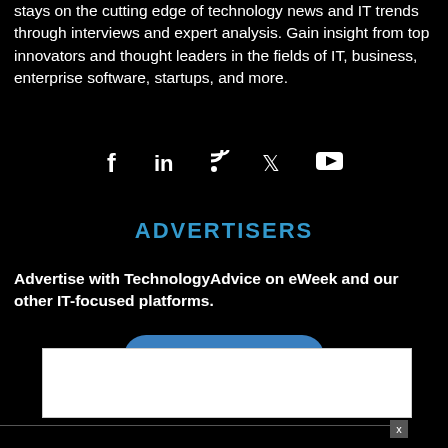stays on the cutting edge of technology news and IT trends through interviews and expert analysis. Gain insight from top innovators and thought leaders in the fields of IT, business, enterprise software, startups, and more.
[Figure (infographic): Social media icons: Facebook, LinkedIn, RSS, Twitter, YouTube]
ADVERTISERS
Advertise with TechnologyAdvice on eWeek and our other IT-focused platforms.
Advertise with Us >
[Figure (screenshot): White popup box with close button (x)]